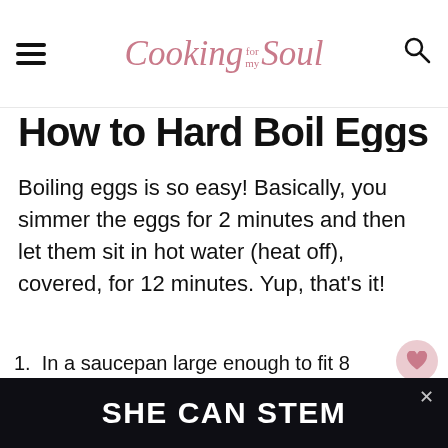Cooking for my Soul
How to Hard Boil Eggs
Boiling eggs is so easy! Basically, you simmer the eggs for 2 minutes and then let them sit in hot water (heat off), covered, for 12 minutes. Yup, that's it!
1. In a saucepan large enough to fit 8 eggs in one single layer, bring water to a boil (enough to fully cover the eggs... to stack the eggs.
SHE CAN STEM